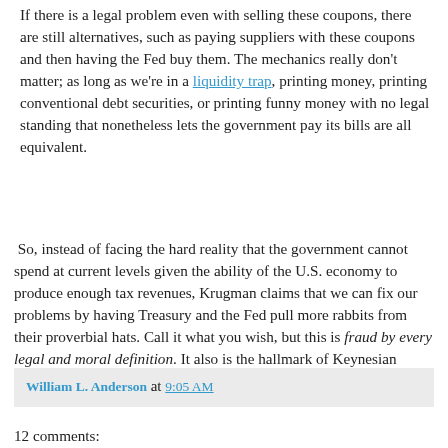If there is a legal problem even with selling these coupons, there are still alternatives, such as paying suppliers with these coupons and then having the Fed buy them. The mechanics really don't matter; as long as we're in a liquidity trap, printing money, printing conventional debt securities, or printing funny money with no legal standing that nonetheless lets the government pay its bills are all equivalent.
So, instead of facing the hard reality that the government cannot spend at current levels given the ability of the U.S. economy to produce enough tax revenues, Krugman claims that we can fix our problems by having Treasury and the Fed pull more rabbits from their proverbial hats. Call it what you wish, but this is fraud by every legal and moral definition. It also is the hallmark of Keynesian "economics."
William L. Anderson at 9:05 AM
12 comments: